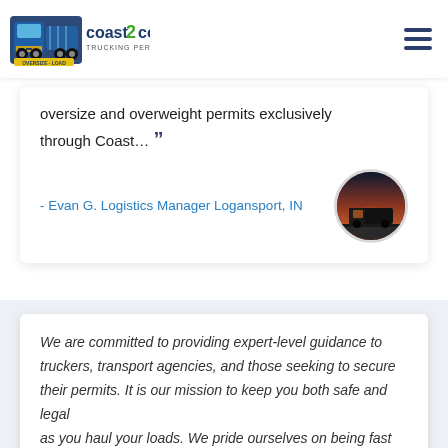Coast 2 Coast Trucking Permits
oversize and overweight permits exclusively through Coast…
- Evan G. Logistics Manager Logansport, IN
We are committed to providing expert-level guidance to truckers, transport agencies, and those seeking to secure their permits. It is our mission to keep you both safe and legal as you haul your loads. We pride ourselves on being fast and